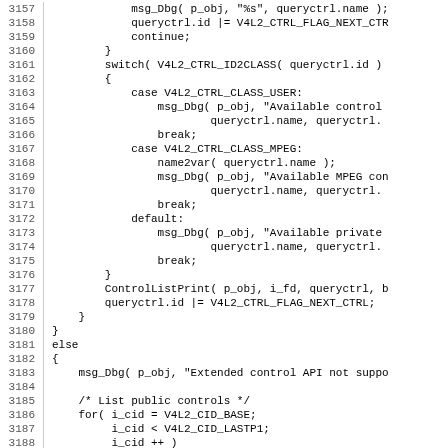[Figure (screenshot): Source code listing in C, lines 3157-3188, showing V4L2 control enumeration logic with switch/case for CTRL_CLASS_USER, CTRL_CLASS_MPEG, default, and an else branch for extended control API not supported, followed by a for loop listing public controls.]